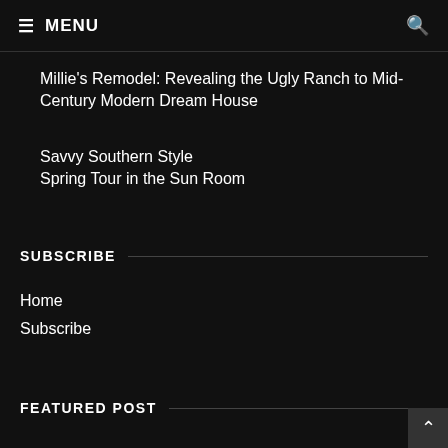≡ MENU
Millie's Remodel: Revealing the Ugly Ranch to Mid-Century Modern Dream House
Savvy Southern Style
Spring Tour in the Sun Room
SUBSCRIBE
Home
Subscribe
FEATURED POST